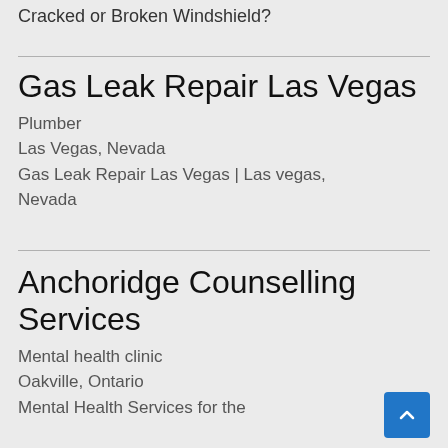Cracked or Broken Windshield?
Gas Leak Repair Las Vegas
Plumber
Las Vegas, Nevada
Gas Leak Repair Las Vegas | Las vegas, Nevada
Anchoridge Counselling Services
Mental health clinic
Oakville, Ontario
Mental Health Services for the